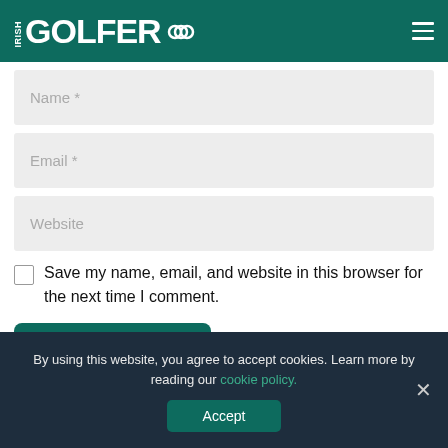IRISH GOLFER
Name *
Email *
Website
Save my name, email, and website in this browser for the next time I comment.
Post Comment
By using this website, you agree to accept cookies. Learn more by reading our cookie policy.
Accept